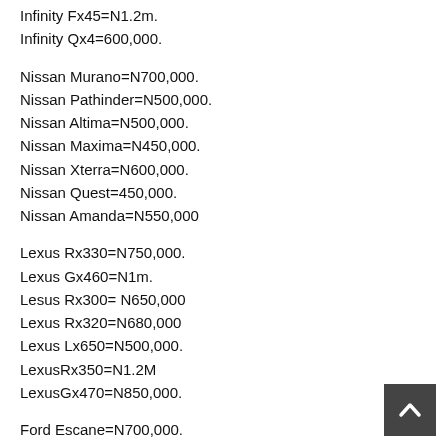Infinity Fx45=N1.2m.
Infinity Qx4=600,000.
Nissan Murano=N700,000.
Nissan Pathinder=N500,000.
Nissan Altima=N500,000.
Nissan Maxima=N450,000.
Nissan Xterra=N600,000.
Nissan Quest=450,000.
Nissan Amanda=N550,000
Lexus Rx330=N750,000.
Lexus Gx460=N1m.
Lesus Rx300= N650,000
Lexus Rx320=N680,000
Lexus Lx650=N500,000.
LexusRx350=N1.2M
LexusGx470=N850,000.
Ford Escane=N700,000.